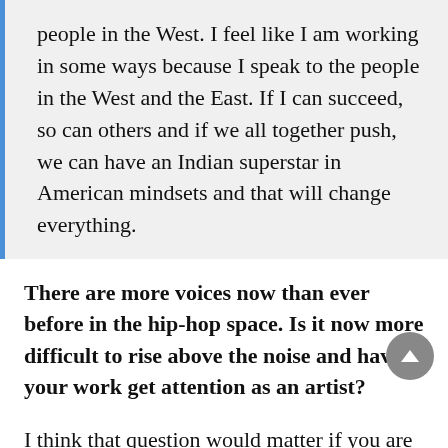people in the West. I feel like I am working in some ways because I speak to the people in the West and the East. If I can succeed, so can others and if we all together push, we can have an Indian superstar in American mindsets and that will change everything.
There are more voices now than ever before in the hip-hop space. Is it now more difficult to rise above the noise and have your work get attention as an artist?
I think that question would matter if you are constantly comparing yourself with others. If you are only focused on your path, whatever anyone else is doing doesn't matter. As long as you stay authentic, you will always cut through because there is only one